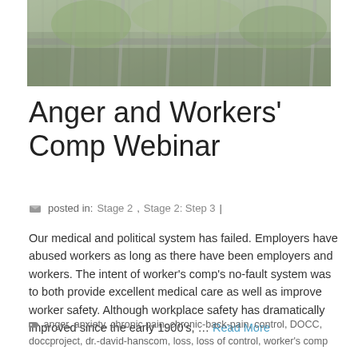[Figure (photo): Blurred outdoor photo, appears to show a fence or railing with foliage in the background]
Anger and Workers' Comp Webinar
posted in: Stage 2, Stage 2: Step 3 |
Our medical and political system has failed. Employers have abused workers as long as there have been employers and workers. The intent of worker's comp's no-fault system was to both provide excellent medical care as well as improve worker safety. Although workplace safety has dramatically improved since the early 1900's, … Read More
anger, anxiety, chronic pain, chronic-back-pain, control, DOCC, doccproject, dr.-david-hanscom, loss, loss of control, worker's comp